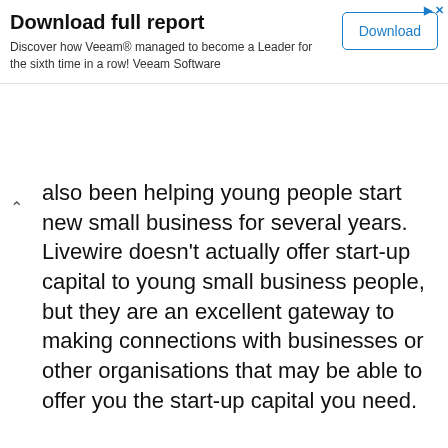[Figure (screenshot): Ad banner: Download full report – Discover how Veeam managed to become a Leader for the sixth time in a row! Veeam Software. Download button.]
also been helping young people start new small business for several years. Livewire doesn't actually offer start-up capital to young small business people, but they are an excellent gateway to making connections with businesses or other organisations that may be able to offer you the start-up capital you need.
This website uses cookies to ensure you get the best experience on our website.
Cookie Policy
Got it!
ness t up finance won't have any idea if you have